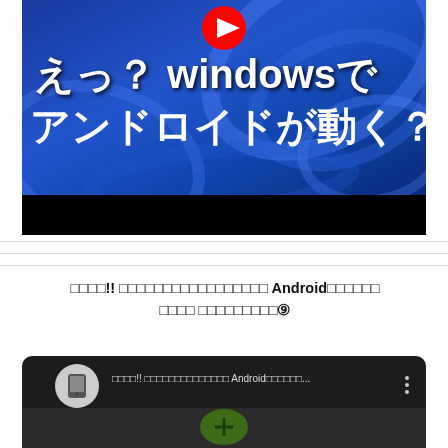[Figure (screenshot): YouTube video thumbnail showing blue abstract Windows 11 background with Japanese text 'えっ？windowsでアンドロイドが動く？' meaning 'What? Android runs on Windows?' with YouTube play button icon at top]
警告動画!! ガラケーの音ゲーを現代のスマホでプレイする Android互換の限界に挑戦 ガラケー音ゲー完全攻略⑨
[Figure (screenshot): YouTube embedded video player showing dark background with channel icon (old mobile phone icon), video title text, three-dot menu, and a green circular button in the player area]